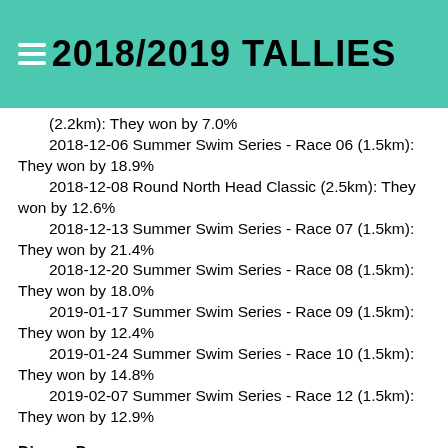2018/2019 TALLIES
(2.2km): They won by 7.0%
2018-12-06 Summer Swim Series - Race 06 (1.5km): They won by 18.9%
2018-12-08 Round North Head Classic (2.5km): They won by 12.6%
2018-12-13 Summer Swim Series - Race 07 (1.5km): They won by 21.4%
2018-12-20 Summer Swim Series - Race 08 (1.5km): They won by 18.0%
2019-01-17 Summer Swim Series - Race 09 (1.5km): They won by 12.4%
2019-01-24 Summer Swim Series - Race 10 (1.5km): They won by 14.8%
2019-02-07 Summer Swim Series - Race 12 (1.5km): They won by 12.9%
Dianne Duncan
2018-11-08 Summer Swim Series - Race 02 (1.5km): They won by 4.3%
2018-12-06 Summer Swim Series - Race 06 (1.5km): They won by 10.6%
2018-12-08 Round North Head Classic (2.5km): They won by 5.5%
2018-12-13 Summer Swim Series - Race 07 (1.5km):